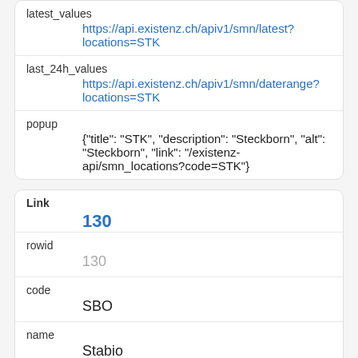| latest_values | https://api.existenz.ch/apiv1/smn/latest?locations=STK |
| last_24h_values | https://api.existenz.ch/apiv1/smn/daterange?locations=STK |
| popup | {"title": "STK", "description": "Steckborn", "alt": "Steckborn", "link": "/existenz-api/smn_locations?code=STK"} |
| Link |
| --- |
| Link | 130 |
| rowid | 130 |
| code | SBO |
| name | Stabio |
| lat |  |